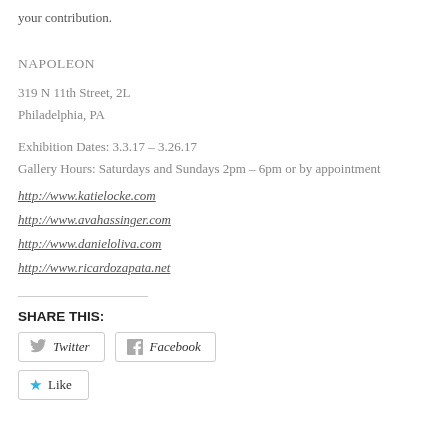your contribution.
NAPOLEON
319 N 11th Street, 2L
Philadelphia, PA
Exhibition Dates: 3.3.17 – 3.26.17
Gallery Hours: Saturdays and Sundays 2pm – 6pm or by appointment
http://www.katielocke.com
http://www.avahassinger.com
http://www.danieloliva.com
http://www.ricardozapata.net
SHARE THIS:
Twitter
Facebook
Like